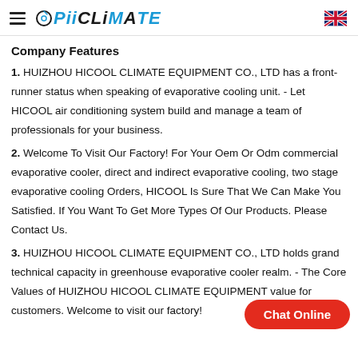OPIICLIMATE [logo with hamburger menu and UK flag]
Company Features
1. HUIZHOU HICOOL CLIMATE EQUIPMENT CO., LTD has a front-runner status when speaking of evaporative cooling unit. - Let HICOOL air conditioning system build and manage a team of professionals for your business.
2. Welcome To Visit Our Factory! For Your Oem Or Odm commercial evaporative cooler, direct and indirect evaporative cooling, two stage evaporative cooling Orders, HICOOL Is Sure That We Can Make You Satisfied. If You Want To Get More Types Of Our Products. Please Contact Us.
3. HUIZHOU HICOOL CLIMATE EQUIPMENT CO., LTD holds grand technical capacity in greenhouse evaporative cooler realm. - The Core Values of HUIZHOU HICOOL CLIMATE EQUIPMENT... value for customers. Welcome to visit our factory!